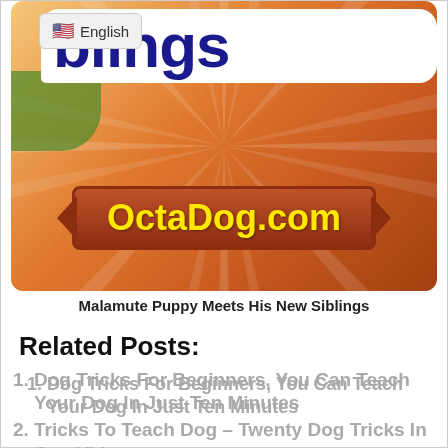[Figure (screenshot): Website banner for OctaDog.com showing 'blings' text in dark blue on white rounded rectangle, English language selector button with US flag, orange sunburst background with green area top-left, and OctaDog.com text in yellow on a dark red/brown badge with arrow-shaped ends]
Malamute Puppy Meets His New Siblings
Related Posts:
Dog Tricks For Beginners, You Can Teach Your Dog In Just Ten Minutes
Tricks To Teach Dog – Twenty Dog Tricks In One Video
Many Dogs Do Not Know How Funny They Can Be! This Eight-